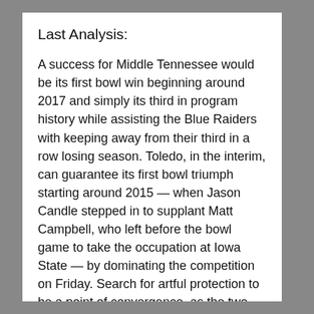Last Analysis:
A success for Middle Tennessee would be its first bowl win beginning around 2017 and simply its third in program history while assisting the Blue Raiders with keeping away from their third in a row losing season. Toledo, in the interim, can guarantee its first bowl triumph starting around 2015 — when Jason Candle stepped in to supplant Matt Campbell, who left before the bowl game to take the occupation at Iowa State — by dominating the competition on Friday. Search for artful protection to be a point of convergence, as the two groups have ruled behind the line of scrimmage and in causing destruction for restricting offenses.
Forecast: